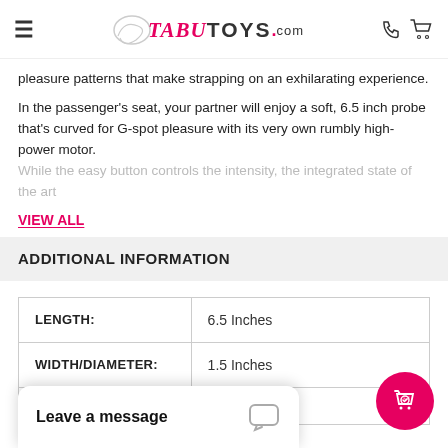TabuToys.com
pleasure patterns that make strapping on an exhilarating experience.
In the passenger's seat, your partner will enjoy a soft, 6.5 inch probe that's curved for G-spot pleasure with its very own rumbly high-power motor. While the easy button controls the intensity, the integrated state of the art
VIEW ALL
ADDITIONAL INFORMATION
|  |  |
| --- | --- |
| LENGTH: | 6.5 Inches |
| WIDTH/DIAMETER: | 1.5 Inches |
| MATERIAL: | Silicone |